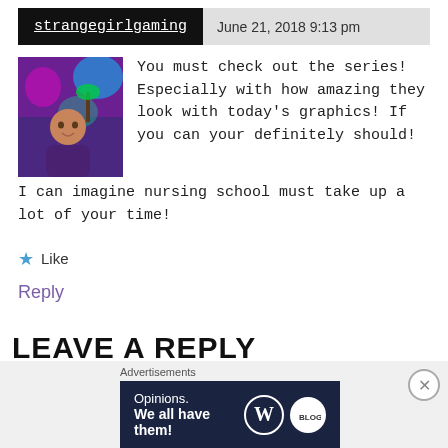strangegirlgaming — June 21, 2018 9:13 pm
[Figure (photo): Avatar/profile photo of a woman smiling with colorful neon background]
You must check out the series! Especially with how amazing they look with today's graphics! If you can your definitely should! I can imagine nursing school must take up a lot of your time!
Like
Reply
LEAVE A REPLY
Advertisements
[Figure (screenshot): WordPress advertisement banner: Opinions. We all have them!]